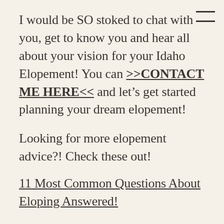I would be SO stoked to chat with you, get to know you and hear all about your vision for your Idaho Elopement! You can >>CONTACT ME HERE<< and let's get started planning your dream elopement!
Looking for more elopement advice?! Check these out!
11 Most Common Questions About Eloping Answered!
How to Elope in Glacier National Park